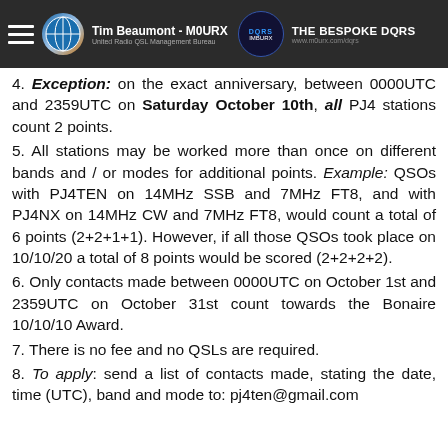Tim Beaumont - M0URX | THE BESPOKE DQRS
4. Exception: on the exact anniversary, between 0000UTC and 2359UTC on Saturday October 10th, all PJ4 stations count 2 points.
5. All stations may be worked more than once on different bands and / or modes for additional points. Example: QSOs with PJ4TEN on 14MHz SSB and 7MHz FT8, and with PJ4NX on 14MHz CW and 7MHz FT8, would count a total of 6 points (2+2+1+1). However, if all those QSOs took place on 10/10/20 a total of 8 points would be scored (2+2+2+2).
6. Only contacts made between 0000UTC on October 1st and 2359UTC on October 31st count towards the Bonaire 10/10/10 Award.
7. There is no fee and no QSLs are required.
8. To apply: send a list of contacts made, stating the date, time (UTC), band and mode to: pj4ten@gmail.com